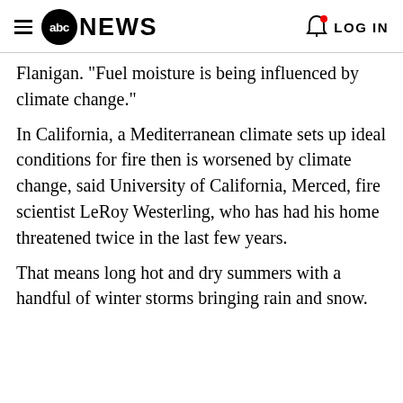abc NEWS  LOG IN
Flanigan. "Fuel moisture is being influenced by climate change."
In California, a Mediterranean climate sets up ideal conditions for fire then is worsened by climate change, said University of California, Merced, fire scientist LeRoy Westerling, who has had his home threatened twice in the last few years.
That means long hot and dry summers with a handful of winter storms bringing rain and snow.